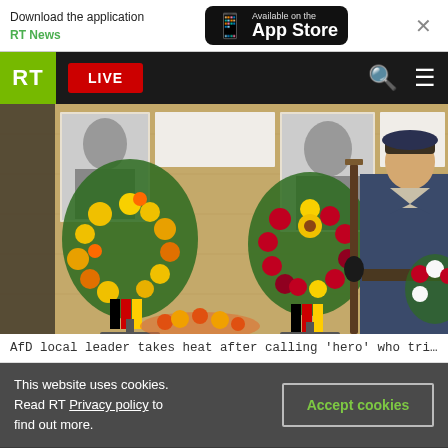Download the application RT News — Available on the App Store
RT LIVE
[Figure (photo): A German military honor guard soldier in dress uniform stands at attention holding a rifle, in front of floral wreaths with German-flag-colored ribbons and black-and-white portrait photographs mounted on wooden boards.]
AfD local leader takes heat after calling 'hero' who tried to kill Hitler
This website uses cookies. Read RT Privacy policy to find out more.
Accept cookies